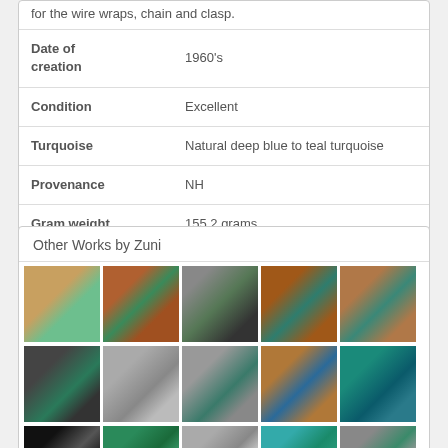| Field | Value |
| --- | --- |
|  | for the wire wraps, chain and clasp. |
| Date of creation | 1960's |
| Condition | Excellent |
| Turquoise | Natural deep blue to teal turquoise |
| Provenance | NH |
| Gram weight | 155.2 grams |
Other Works by Zuni
[Figure (photo): Grid of thumbnail photos showing Zuni jewelry including bracelets, earrings, pendants, and rings with turquoise stones]
[Figure (photo): Partial row of jewelry thumbnails at bottom]